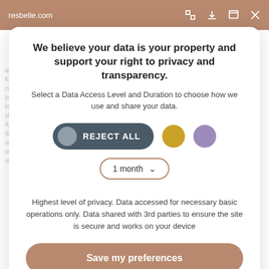resbelle.com
We believe your data is your property and support your right to privacy and transparency.
Select a Data Access Level and Duration to choose how we use and share your data.
REJECT ALL  [toggle with color circles]
1 month
Highest level of privacy. Data accessed for necessary basic operations only. Data shared with 3rd parties to ensure the site is secure and works on your device
Save my preferences
Customize   Privacy policy